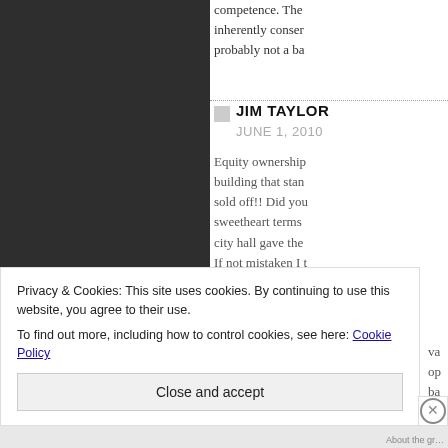competence. The inherently conser probably not a ba
JIM TAYLOR
JUNE 1, 2010
Equity ownership building that stan sold off!! Did you sweetheart terms city hall gave the If not mistaken I t manager had a lo VICC was handled
va op ba
Privacy & Cookies: This site uses cookies. By continuing to use this website, you agree to their use. To find out more, including how to control cookies, see here: Cookie Policy
Close and accept